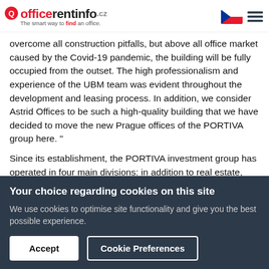officerentinfo.cz — The smart way to find an office.
overcome all construction pitfalls, but above all office market caused by the Covid-19 pandemic, the building will be fully occupied from the outset. The high professionalism and experience of the UBM team was evident throughout the development and leasing process. In addition, we consider Astrid Offices to be such a high-quality building that we have decided to move the new Prague offices of the PORTIVA group here. "
Since its establishment, the PORTIVA investment group has operated in four main divisions: in addition to real estate, these mainly include energy, fund management and a private
Your choice regarding cookies on this site
We use cookies to optimise site functionality and give you the best possible experience.
Accept
Cookie Preferences